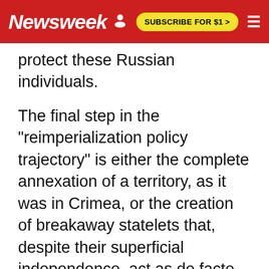Newsweek | SUBSCRIBE FOR $1 >
protect these Russian individuals.
The final step in the "reimperialization policy trajectory" is either the complete annexation of a territory, as it was in Crimea, or the creation of breakaway statelets that, despite their superficial independence, act as de facto Russian protectorates.
In order to prove this bold claim, Grigas conducts a sweeping overview of Russia's foreign policy toward 13 countries, all while masterfully highlighting their regional nuances